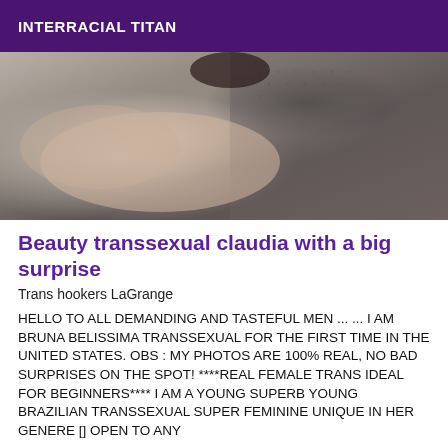INTERRACIAL TITAN
[Figure (photo): Close-up photo of a person lying on a textured grey fabric surface, partial body view]
Beauty transsexual claudia with a big surprise
Trans hookers LaGrange
HELLO TO ALL DEMANDING AND TASTEFUL MEN ... ... I AM BRUNA BELISSIMA TRANSSEXUAL FOR THE FIRST TIME IN THE UNITED STATES. OBS : MY PHOTOS ARE 100% REAL, NO BAD SURPRISES ON THE SPOT! ****REAL FEMALE TRANS IDEAL FOR BEGINNERS**** I AM A YOUNG SUPERB YOUNG BRAZILIAN TRANSSEXUAL SUPER FEMININE UNIQUE IN HER GENERE [] OPEN TO ANY